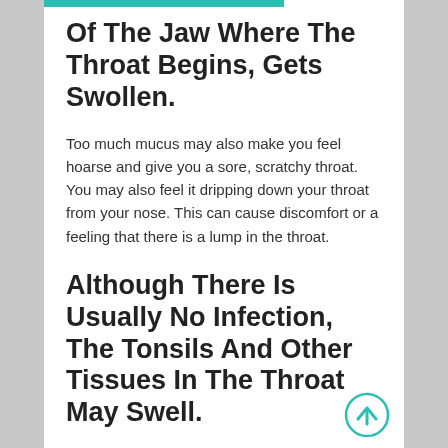Of The Jaw Where The Throat Begins, Gets Swollen.
Too much mucus may also make you feel hoarse and give you a sore, scratchy throat. You may also feel it dripping down your throat from your nose. This can cause discomfort or a feeling that there is a lump in the throat.
Although There Is Usually No Infection, The Tonsils And Other Tissues In The Throat May Swell.
New loss of taste or smell. A severe sore throat is one sign of the illness,. I've had a long recovery,